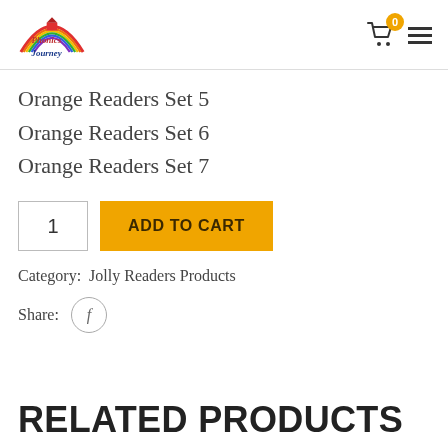Phonics Journey logo, cart (0), menu
Orange Readers Set 5
Orange Readers Set 6
Orange Readers Set 7
1  ADD TO CART
Category: Jolly Readers Products
Share:
RELATED PRODUCTS